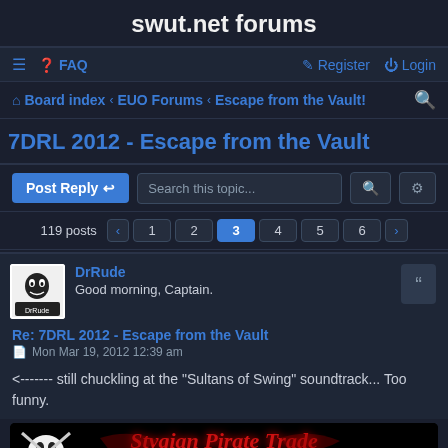swut.net forums
≡  FAQ    Register   Login
Board index  EUO Forums  Escape from the Vault!
7DRL 2012 - Escape from the Vault
Post Reply   Search this topic...
119 posts  < 1 2 3 4 5 6 >
DrRude
Good morning, Captain.
Re: 7DRL 2012 - Escape from the Vault
Mon Mar 19, 2012 12:39 am
<------- still chuckling at the "Sultans of Swing" soundtrack... Too funny.
[Figure (illustration): Stygian Pirate Trade banner image with skull and crossbones on black background with red stylized text]